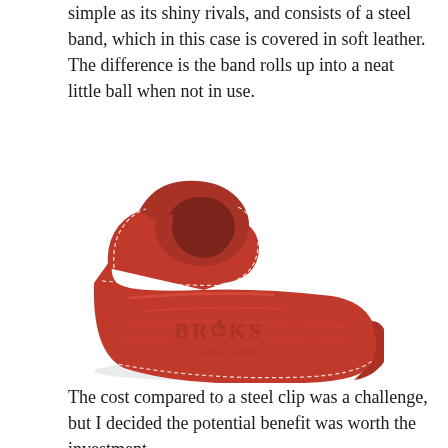simple as its shiny rivals, and consists of a steel band, which in this case is covered in soft leather. The difference is the band rolls up into a neat little ball when not in use.
[Figure (photo): A red leather Brooks England trouser band/strap rolled into a curved S-shape, showing the Brooks England embossed logo on the wide end, with white stitching detail along the edges, photographed on a white background.]
The cost compared to a steel clip was a challenge, but I decided the potential benefit was worth the investment